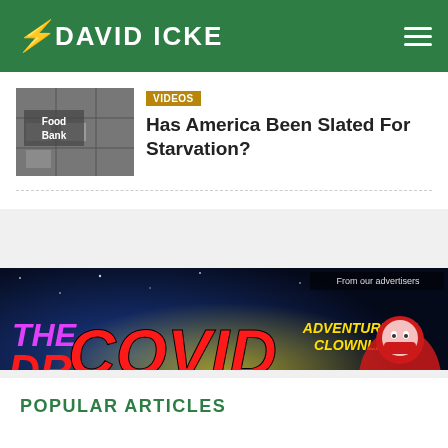DAVID ICKE
VIDEOS
Has America Been Slated For Starvation?
[Figure (photo): Thumbnail image of a Food Bank sign, grayscale]
[Figure (illustration): Advertisement banner for 'The Dr. Covid Universe – Adventures in Clownland', a new book by Neil Hague]
POPULAR ARTICLES